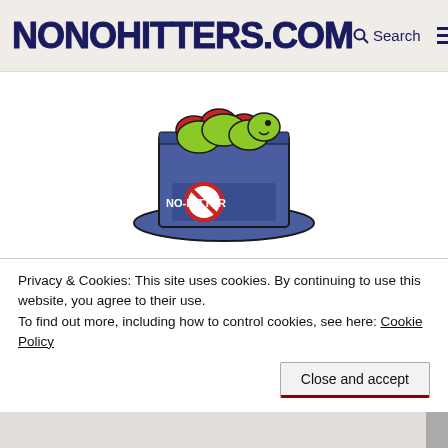NONOHITTERS.COM | Search | Menu
[Figure (illustration): NoNoHitters.com logo: a blue magician's top hat with a no-hitter crossed-out sign and a caterpillar/worm on top]
NoNoHitters.com launched in 2008 to track the Mets' now-defunct streak of 8,019 games without a no-hitter. Learn more on our The original NoNoHitters.com page.
Links to other rare feats
Privacy & Cookies: This site uses cookies. By continuing to use this website, you agree to their use.
To find out more, including how to control cookies, see here: Cookie Policy
Close and accept